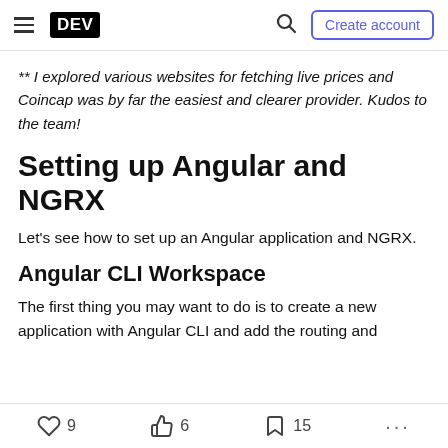DEV — Create account
** I explored various websites for fetching live prices and Coincap was by far the easiest and clearer provider. Kudos to the team!
Setting up Angular and NGRX
Let's see how to set up an Angular application and NGRX.
Angular CLI Workspace
The first thing you may want to do is to create a new application with Angular CLI and add the routing and
9  6  15  ...